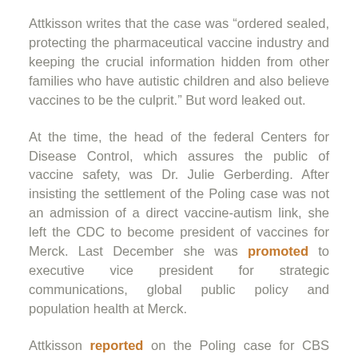Attkisson writes that the case was “ordered sealed, protecting the pharmaceutical vaccine industry and keeping the crucial information hidden from other families who have autistic children and also believe vaccines to be the culprit.” But word leaked out.
At the time, the head of the federal Centers for Disease Control, which assures the public of vaccine safety, was Dr. Julie Gerberding. After insisting the settlement of the Poling case was not an admission of a direct vaccine-autism link, she left the CDC to become president of vaccines for Merck. Last December she was promoted to executive vice president for strategic communications, global public policy and population health at Merck.
Attkisson reported on the Poling case for CBS News on March 6, 2008. She said, “While the Poling case is the first of its kind to become public, a CBS News investigation uncovered at least nine other cases as far back as 1990, where records show the court ordered the government to compensate families whose